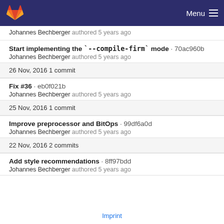GitLab Menu
Johannes Bechberger authored 5 years ago
Start implementing the `--compile-firm` mode · 70ac960b
Johannes Bechberger authored 5 years ago
26 Nov, 2016 1 commit
Fix #36 · eb0f021b
Johannes Bechberger authored 5 years ago
25 Nov, 2016 1 commit
Improve preprocessor and BitOps · 99df6a0d
Johannes Bechberger authored 5 years ago
22 Nov, 2016 2 commits
Add style recommendations · 8ff97bdd
Johannes Bechberger authored 5 years ago
Imprint